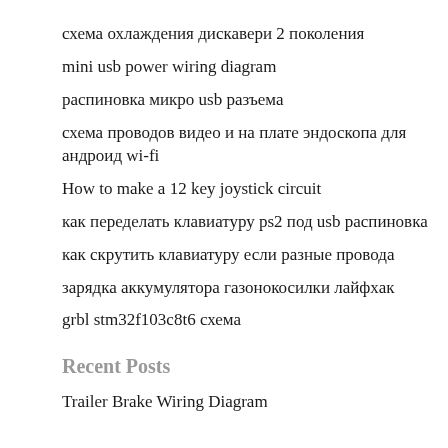схема охлаждения дискавери 2 поколения
mini usb power wiring diagram
распиновка микро usb разъема
схема проводов видео и на плате эндоскопа для андроид wi-fi
How to make a 12 key joystick circuit
как переделать клавиатуру ps2 под usb распиновка
как скрутить клавиатуру если разные провода
зарядка аккумулятора газонокосилки лайфхак
grbl stm32f103c8t6 схема
Recent Posts
Trailer Brake Wiring Diagram